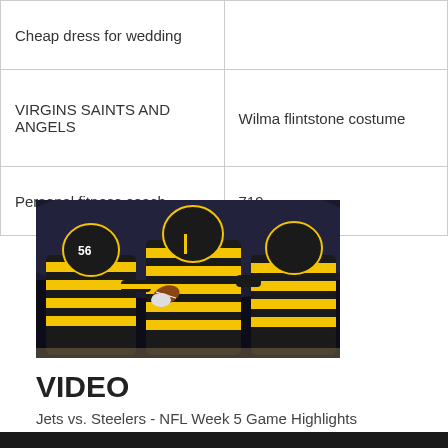| Cheap dress for wedding |  |
| VIRGINS SAINTS AND ANGELS | Wilma flintstone costume |
| Personal fitness coach | 719 |
[Figure (photo): Pittsburgh Steelers football players in black and yellow striped uniforms during a game, quarterback preparing to throw]
VIDEO
Jets vs. Steelers - NFL Week 5 Game Highlights
[Figure (screenshot): Dark video thumbnail at bottom of page]